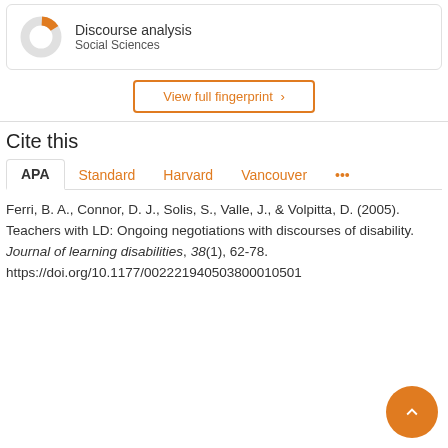[Figure (donut-chart): Small donut chart with orange slice, labeled Discourse analysis / Social Sciences]
Discourse analysis
Social Sciences
View full fingerprint >
Cite this
APA  Standard  Harvard  Vancouver  ...
Ferri, B. A., Connor, D. J., Solis, S., Valle, J., & Volpitta, D. (2005). Teachers with LD: Ongoing negotiations with discourses of disability. Journal of learning disabilities, 38(1), 62-78. https://doi.org/10.1177/002221940503800010501